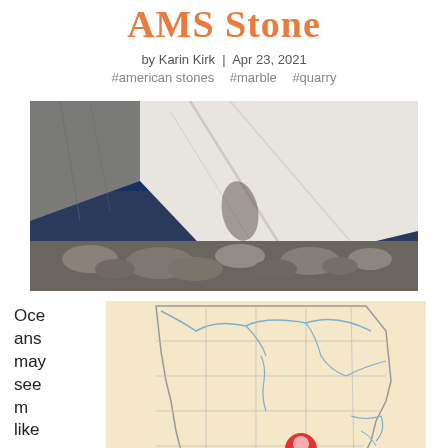AMS Stone
by Karin Kirk | Apr 23, 2021
#american stones   #marble   #quarry
[Figure (photo): Large white marble block at a quarry with blue sky and rubble at base]
Oceans may seem like
[Figure (map): Map of Alabama with county lines, river systems in blue, and a red location pin in the lower portion of the state]